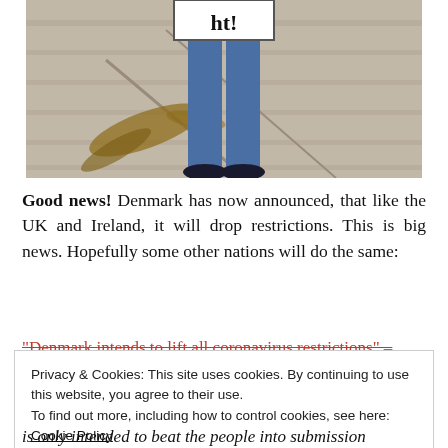[Figure (photo): Partial photo showing lower body of a person holding a sign, standing on a sidewalk/wooden surface with scattered mulch]
Good news! Denmark has now announced, that like the UK and Ireland, it will drop restrictions. This is big news. Hopefully some other nations will do the same:
“Denmark intends to lift all coronavirus restrictions” –
Privacy & Cookies: This site uses cookies. By continuing to use this website, you agree to their use.
To find out more, including how to control cookies, see here: Cookie Policy
is only intended to beat the people into submission